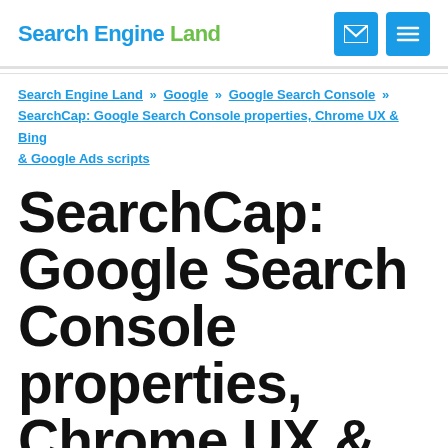Search Engine Land
Search Engine Land » Google » Google Search Console » SearchCap: Google Search Console properties, Chrome UX & Bing & Google Ads scripts
SearchCap: Google Search Console properties, Chrome UX & Bing & Google Ads scripts